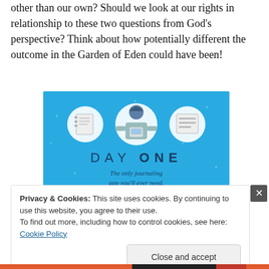answer these two questions from a different perspective other than our own? Should we look at our rights in relationship to these two questions from God's perspective? Think about how potentially different the outcome in the Garden of Eden could have been!
[Figure (illustration): Day One journaling app advertisement. Blue background with illustrated character holding a phone, surrounded by circular icons depicting a notebook and a list. Text reads 'DAY ONE' and 'The only journaling app you'll ever need.']
Privacy & Cookies: This site uses cookies. By continuing to use this website, you agree to their use.
To find out more, including how to control cookies, see here: Cookie Policy
Close and accept